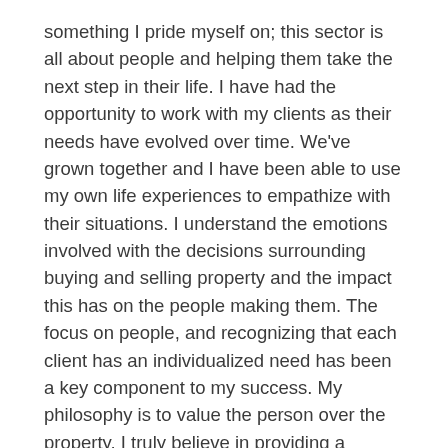something I pride myself on; this sector is all about people and helping them take the next step in their life. I have had the opportunity to work with my clients as their needs have evolved over time. We've grown together and I have been able to use my own life experiences to empathize with their situations. I understand the emotions involved with the decisions surrounding buying and selling property and the impact this has on the people making them. The focus on people, and recognizing that each client has an individualized need has been a key component to my success. My philosophy is to value the person over the property, I truly believe in providing a personalized level of service. Investing into the relationship is important if you're sincere about helping someone.
One of the most important aspects of my approach is to manage clients' expectations relative to the current market, clearly communicating what is realistic is vital, it